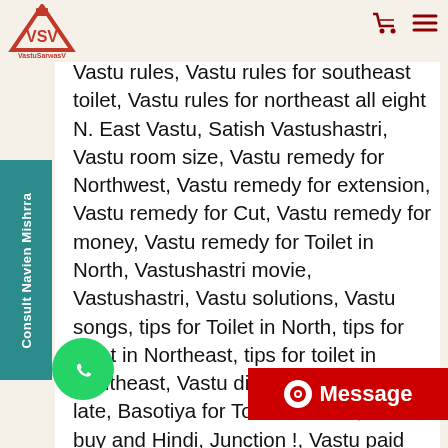VastuSarwasV logo and navigation
Vastu rules, Vastu rules for southeast toilet, Vastu rules for northeast all eight N. East Vastu, Satish Vastushastri, Vastu room size, Vastu remedy for Northwest, Vastu remedy for extension, Vastu remedy for Cut, Vastu remedy for money, Vastu remedy for Toilet in North, Vastushastri movie, Vastushastri, Vastu solutions, Vastu songs, tips for Toilet in North, tips for toilet in Northeast, tips for toilet in Southeast, Vastu did for Northeastern late, Basotiya for Toilet in North, Vastu buy and Hindi, Junction !, Vastu paid for money, Vastu pay for home basketball yard, Vasu video, best Vasu video, best Vastu tutor, Vastu does obey, Vasu wallpaper, Vastu west facing, stu is fishing, Vastu north t... South fishing, Vasu water tank, Vasu world,